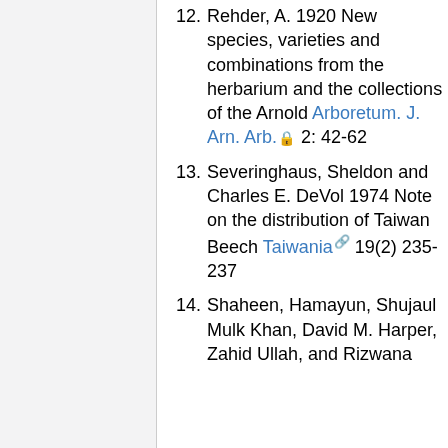12. Rehder, A. 1920 New species, varieties and combinations from the herbarium and the collections of the Arnold Arboretum. J. Arn. Arb. 2: 42-62
13. Severinghaus, Sheldon and Charles E. DeVol 1974 Note on the distribution of Taiwan Beech Taiwania 19(2) 235-237
14. Shaheen, Hamayun, Shujaul Mulk Khan, David M. Harper, Zahid Ullah, and Rizwana